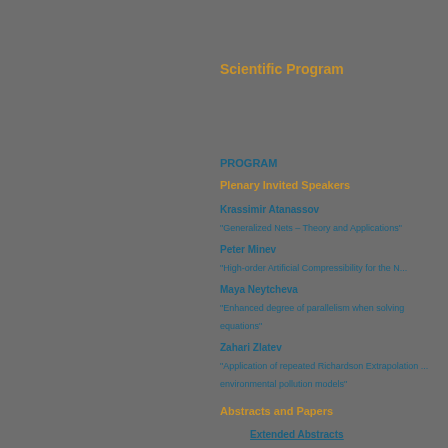Scientific Program
PROGRAM
Plenary Invited Speakers
Krassimir Atanassov
"Generalized Nets – Theory and Applications"
Peter Minev
"High-order Artificial Compressibility for the N..."
Maya Neytcheva
"Enhanced degree of parallelism when solving ... equations"
Zahari Zlatev
"Application of repeated Richardson Extrapolation ... environmental pollution models"
Abstracts and Papers
Extended Abstracts